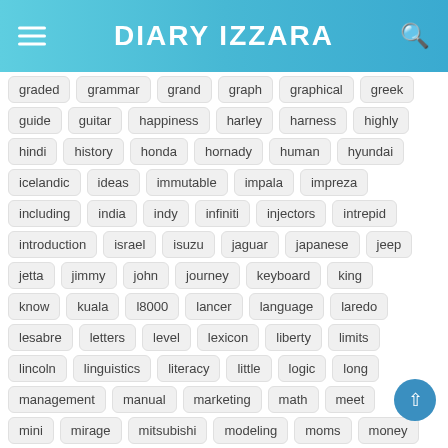DIARY IZZARA
graded
grammar
grand
graph
graphical
greek
guide
guitar
happiness
harley
harness
highly
hindi
history
honda
hornady
human
hyundai
icelandic
ideas
immutable
impala
impreza
including
india
indy
infiniti
injectors
intrepid
introduction
israel
isuzu
jaguar
japanese
jeep
jetta
jimmy
john
journey
keyboard
king
know
kuala
l8000
lancer
language
laredo
lesabre
letters
level
lexicon
liberty
limits
lincoln
linguistics
literacy
little
logic
long
management
manual
marketing
math
meet
mini
mirage
mitsubishi
modeling
moms
money